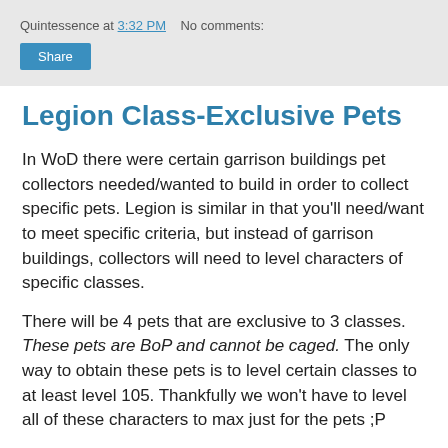Quintessence at 3:32 PM   No comments:
Share
Legion Class-Exclusive Pets
In WoD there were certain garrison buildings pet collectors needed/wanted to build in order to collect specific pets. Legion is similar in that you'll need/want to meet specific criteria, but instead of garrison buildings, collectors will need to level characters of specific classes.
There will be 4 pets that are exclusive to 3 classes. These pets are BoP and cannot be caged. The only way to obtain these pets is to level certain classes to at least level 105. Thankfully we won't have to level all of these characters to max just for the pets ;P
Here are the classes collectors will need (and the pets associated with them).